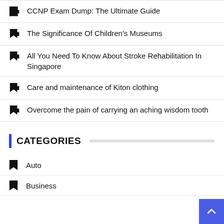CCNP Exam Dump: The Ultimate Guide
The Significance Of Children's Museums
All You Need To Know About Stroke Rehabilitation In Singapore
Care and maintenance of Kiton clothing
Overcome the pain of carrying an aching wisdom tooth
CATEGORIES
Auto
Business